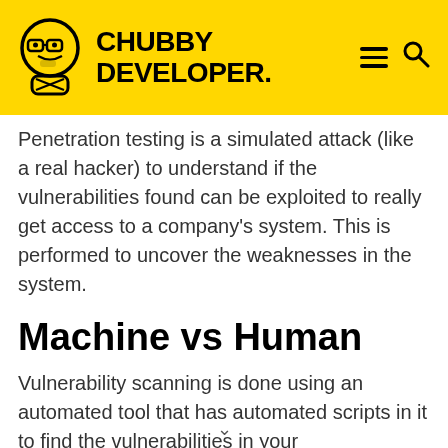CHUBBY DEVELOPER
Penetration testing is a simulated attack (like a real hacker) to understand if the vulnerabilities found can be exploited to really get access to a company's system. This is performed to uncover the weaknesses in the system.
Machine vs Human
Vulnerability scanning is done using an automated tool that has automated scripts in it to find the vulnerabilities in your system/application. It gives you a report of the vulnerabilities that might be there after the scan has been completed.